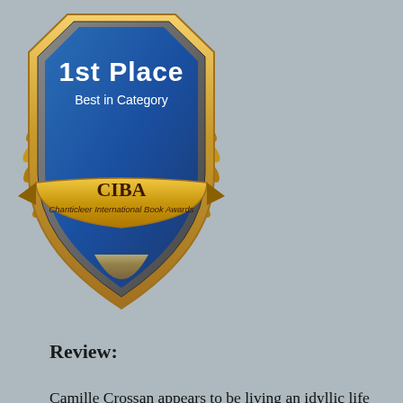[Figure (illustration): CIBA Chanticleer International Book Awards badge: 1st Place, Best in Category. Blue shield with gold laurel wreath border and gold ribbon banner.]
Review:
Camille Crossan appears to be living an idyllic life in Claire Fullerton’s poignant, evocative novel, Mourning Dove. Living in a superbly appointed mansion in “magnolia-lined and manicured” Memphis during the 1960s and 1970s, Camille’s family life shimmers with Southern charm. Her mother, Posey, usually outfitted in a Lily Pulitzer shift, Pappagallo shoes, and a signature shade of pink lipstick, is a beauty with the wryest sense of